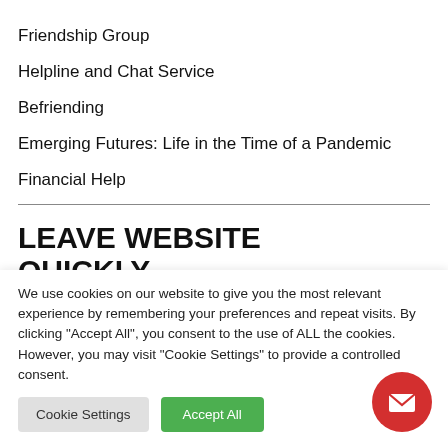Friendship Group
Helpline and Chat Service
Befriending
Emerging Futures: Life in the Time of a Pandemic
Financial Help
LEAVE WEBSITE QUICKLY
We use cookies on our website to give you the most relevant experience by remembering your preferences and repeat visits. By clicking "Accept All", you consent to the use of ALL the cookies. However, you may visit "Cookie Settings" to provide a controlled consent.
Cookie Settings | Accept All